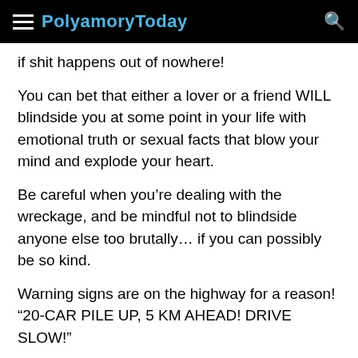PolyamoryToday
if shit happens out of nowhere!
You can bet that either a lover or a friend WILL blindside you at some point in your life with emotional truth or sexual facts that blow your mind and explode your heart.
Be careful when you’re dealing with the wreckage, and be mindful not to blindside anyone else too brutally… if you can possibly be so kind.
Warning signs are on the highway for a reason! “20-CAR PILE UP, 5 KM AHEAD! DRIVE SLOW!”